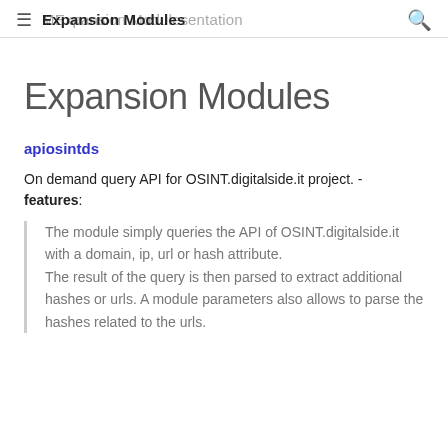Expansion Modules
Expansion Modules
apiosintds
On demand query API for OSINT.digitalside.it project. - features:
The module simply queries the API of OSINT.digitalside.it with a domain, ip, url or hash attribute.
The result of the query is then parsed to extract additional hashes or urls. A module parameters also allows to parse the hashes related to the urls.